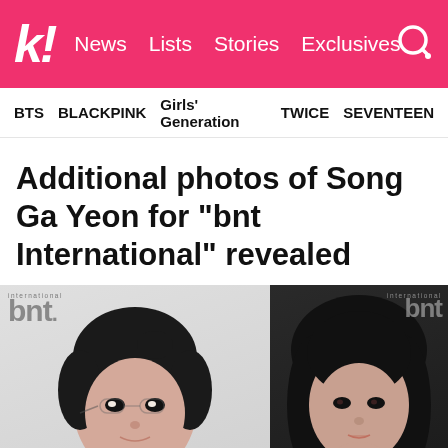k! News Lists Stories Exclusives
BTS  BLACKPINK  Girls' Generation  TWICE  SEVENTEEN
Additional photos of Song Ga Yeon for “bnt International” revealed
[Figure (photo): Two portrait magazine photos of Song Ga Yeon for bnt International. Left photo on light gray background showing woman with dark upswept hair in white outfit. Right photo on dark background showing woman with flowing dark hair looking at camera.]